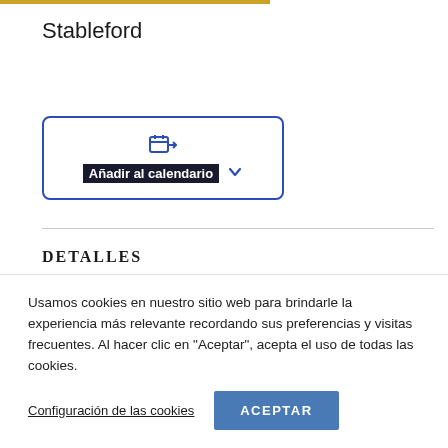Stableford
[Figure (other): Add to calendar button with calendar icon and dropdown chevron, inside a blue-bordered rounded rectangle. Label reads 'Añadir al calendario' with a dropdown arrow.]
DETALLES
Usamos cookies en nuestro sitio web para brindarle la experiencia más relevante recordando sus preferencias y visitas frecuentes. Al hacer clic en "Aceptar", acepta el uso de todas las cookies.
Configuración de las cookies
ACEPTAR